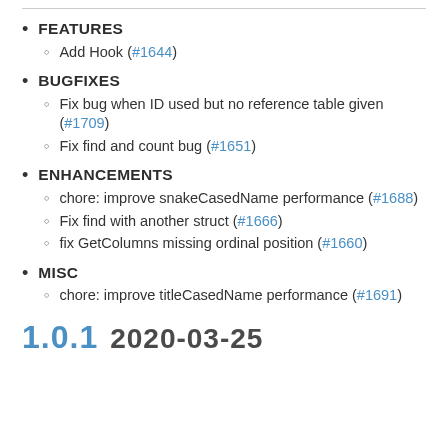FEATURES
Add Hook (#1644)
BUGFIXES
Fix bug when ID used but no reference table given (#1709)
Fix find and count bug (#1651)
ENHANCEMENTS
chore: improve snakeCasedName performance (#1688)
Fix find with another struct (#1666)
fix GetColumns missing ordinal position (#1660)
MISC
chore: improve titleCasedName performance (#1691)
1.0.1   2020-03-25